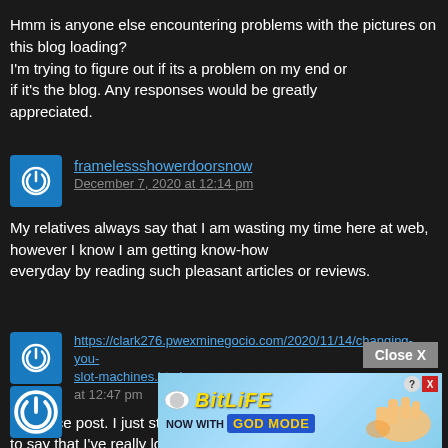Hmm is anyone else encountering problems with the pictures on this blog loading? I'm trying to figure out if its a problem on my end or if it's the blog. Any responses would be greatly appreciated.
framelessshowerdoorsnow
December 7, 2020 at 12:14 pm
My relatives always say that I am wasting my time here at web, however I know I am getting know-how everyday by reading such pleasant articles or reviews.
https://clark276.pwexminegocio.com/2020/11/14/changing-you-slot-machines.html at 12:47 pm
Very nice post. I just stumbled upon your blog and wished to say that I've really loved browsing your blog posts. In any case I will be subscribing for your feed and I am hoping you write again very soon!
[Figure (screenshot): BitLife advertisement banner with 'NOW WITH GOD MODE' text and a pointing hand illustration]